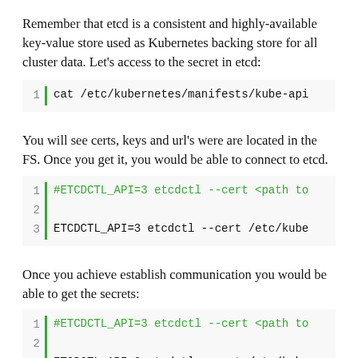Remember that etcd is a consistent and highly-available key-value store used as Kubernetes backing store for all cluster data. Let's access to the secret in etcd:
You will see certs, keys and url's were are located in the FS. Once you get it, you would be able to connect to etcd.
Once you achieve establish communication you would be able to get the secrets: